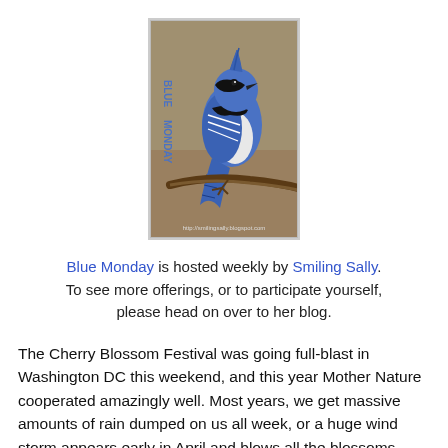[Figure (illustration): A blue jay bird perched on a branch with 'BLUE MONDAY' text vertically along the left side and a URL at the bottom, framed with a light border.]
Blue Monday is hosted weekly by Smiling Sally. To see more offerings, or to participate yourself, please head on over to her blog.
The Cherry Blossom Festival was going full-blast in Washington DC this weekend, and this year Mother Nature cooperated amazingly well. Most years, we get massive amounts of rain dumped on us all week, or a huge wind storm appears early in April and blows all the blossoms away. But not this year. The weather was gorgeous all weekend.